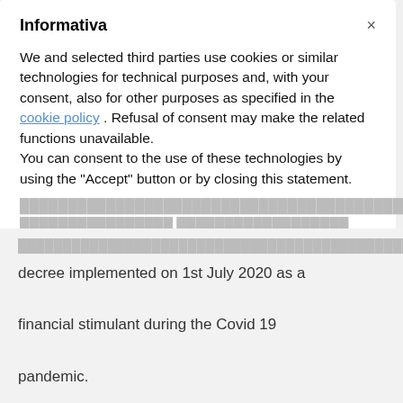Informativa
We and selected third parties use cookies or similar technologies for technical purposes and, with your consent, also for other purposes as specified in the cookie policy . Refusal of consent may make the related functions unavailable.
You can consent to the use of these technologies by using the "Accept" button or by closing this statement.
Accept
Learn more and customize
decree implemented on 1st July 2020 as a financial stimulant during the Covid 19 pandemic.